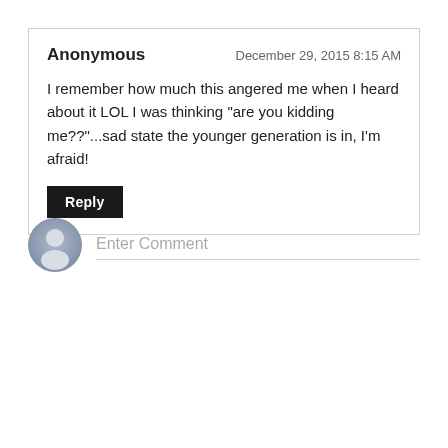Anonymous
December 29, 2015 8:15 AM
I remember how much this angered me when I heard about it LOL I was thinking "are you kidding me??"...sad state the younger generation is in, I'm afraid!
Reply
[Figure (illustration): Generic user avatar icon — grey silhouette of a person on a light blue-grey circular background]
Enter Comment